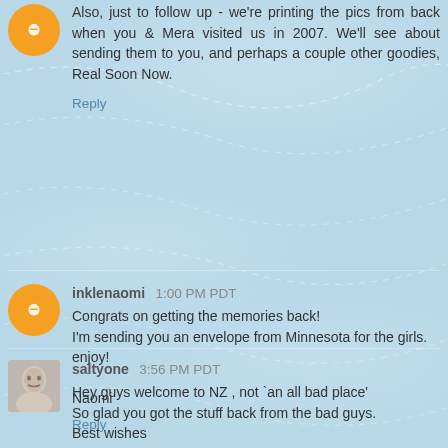Also, just to follow up - we're printing the pics from back when you & Mera visited us in 2007. We'll see about sending them to you, and perhaps a couple other goodies, Real Soon Now.
Reply
inklenaomi 1:00 PM PDT
Congrats on getting the memories back!
I'm sending you an envelope from Minnesota for the girls. enjoy!

Naomi
Reply
saltyone 3:56 PM PDT
Hey guys welcome to NZ , not `an all bad place'
So glad you got the stuff back from the bad guys.
Best wishes